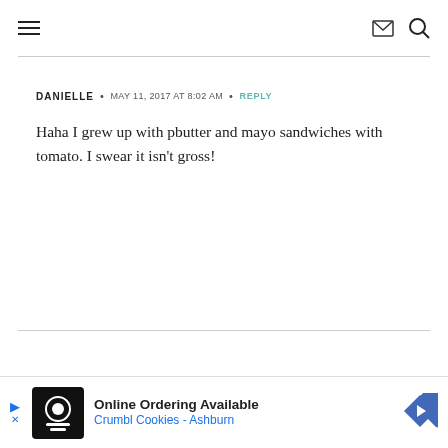Navigation header with hamburger menu, envelope icon, and search icon
DANIELLE • MAY 11, 2017 AT 8:02 AM • REPLY
Haha I grew up with pbutter and mayo sandwiches with tomato. I swear it isn't gross!
[Figure (infographic): Advertisement banner: Online Ordering Available, Crumbl Cookies - Ashburn, with logo and navigation arrow icon]